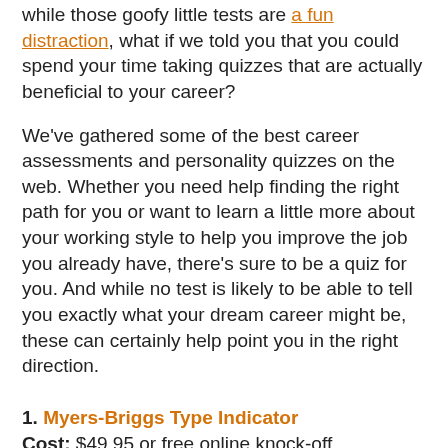while those goofy little tests are a fun distraction, what if we told you that you could spend your time taking quizzes that are actually beneficial to your career?
We've gathered some of the best career assessments and personality quizzes on the web. Whether you need help finding the right path for you or want to learn a little more about your working style to help you improve the job you already have, there's sure to be a quiz for you. And while no test is likely to be able to tell you exactly what your dream career might be, these can certainly help point you in the right direction.
1. Myers-Briggs Type Indicator
Cost: $49.95 or free online knock-off
Applicable across all areas of your life, the MBTI is